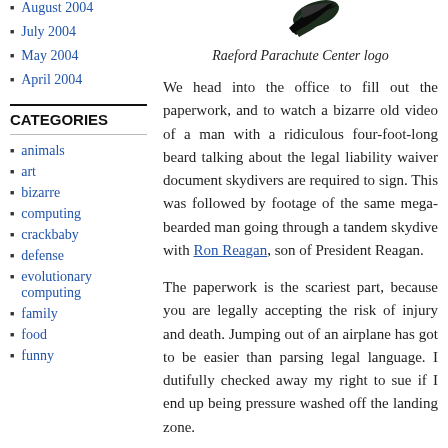August 2004
July 2004
May 2004
April 2004
CATEGORIES
animals
art
bizarre
computing
crackbaby
defense
evolutionary computing
family
food
funny
[Figure (illustration): Raeford Parachute Center logo - a dark feather/wing shape]
Raeford Parachute Center logo
We head into the office to fill out the paperwork, and to watch a bizarre old video of a man with a ridiculous four-foot-long beard talking about the legal liability waiver document skydivers are required to sign. This was followed by footage of the same mega-bearded man going through a tandem skydive with Ron Reagan, son of President Reagan.
The paperwork is the scariest part, because you are legally accepting the risk of injury and death. Jumping out of an airplane has got to be easier than parsing legal language. I dutifully checked away my right to sue if I end up being pressure washed off the landing zone.